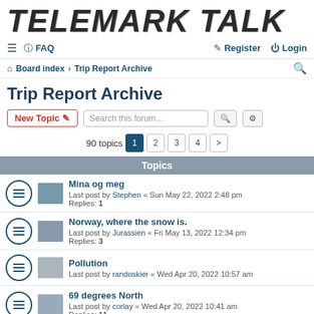TELEMARK TALK
≡  FAQ   Register  Login
Board index › Trip Report Archive
Trip Report Archive
New Topic  Search this forum…  90 topics  1 2 3 4 >
Topics
Mina og meg
Last post by Stephen « Sun May 22, 2022 2:48 pm
Replies: 1
Norway, where the snow is.
Last post by Jurassien « Fri May 13, 2022 12:34 pm
Replies: 3
Pollution
Last post by randoskier « Wed Apr 20, 2022 10:57 am
69 degrees North
Last post by corlay « Wed Apr 20, 2022 10:41 am
Replies: 11